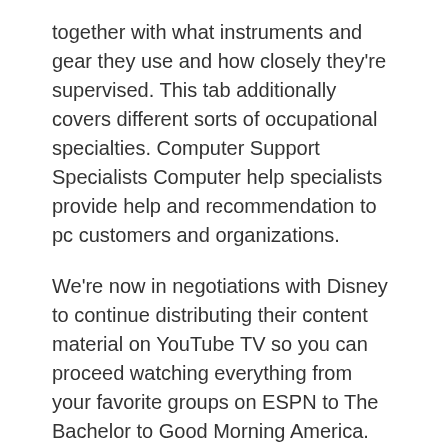together with what instruments and gear they use and how closely they're supervised. This tab additionally covers different sorts of occupational specialties. Computer Support Specialists Computer help specialists provide help and recommendation to pc customers and organizations.
We're now in negotiations with Disney to continue distributing their content material on YouTube TV so you can proceed watching everything from your favorite groups on ESPN to The Bachelor to Good Morning America. Our deal expires on Friday, December 17, and we haven't been capable of reach an equitable agreement but, so we wanted to provide you an early heads up to find a way to perceive your decisions. The protester contends that the descriptions of every labor category have been obscure, reflecting that the agency didn't provide